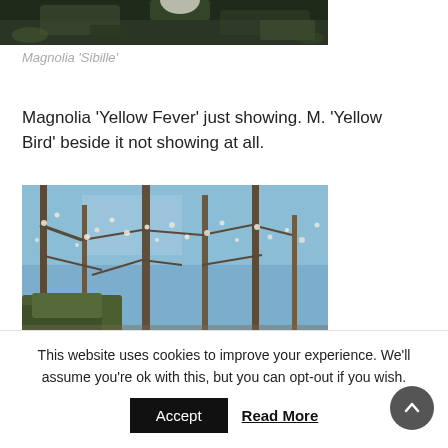[Figure (photo): Partial view of Magnolia 'Sibille' plant photo, cropped at top of page, dark green foliage background]
Magnolia 'Sibille'
Magnolia 'Yellow Fever' just showing. M. 'Yellow Bird' beside it not showing at all.
[Figure (photo): Outdoor photo of bare winter trees with small white blossoms, blue sky visible through branches]
This website uses cookies to improve your experience. We'll assume you're ok with this, but you can opt-out if you wish.